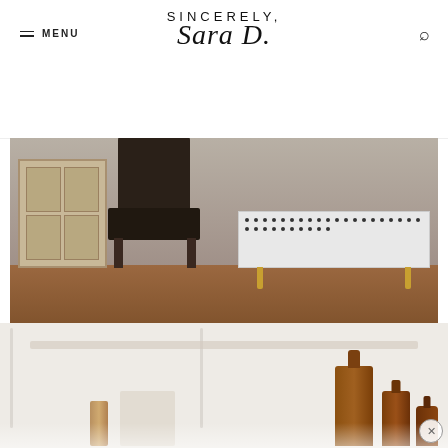SINCERELY, Sara D.
[Figure (photo): A furniture vignette showing a dark wooden chair and a white bench with brass nailhead trim and gold legs, on hardwood flooring. Watermark reads 'Mad in Crafts 2015'.]
Mad in Crafts took a modern approach with her Rast and added fun elements and long legs.
[Figure (photo): Bottom portion of an image showing a styled shelf or dresser top with amber/brown glass bottles and decorative items against a white wall.]